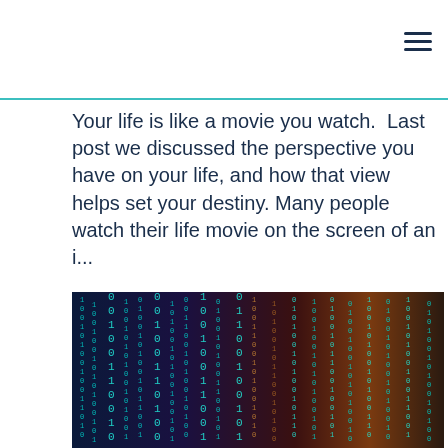Your life is like a movie you watch.  Last post we discussed the perspective you have on your life, and how that view helps set your destiny. Many people watch their life movie on the screen of an i...
Read More
[Figure (photo): Binary code falling digital streams of 0s and 1s in teal/cyan color against a dark blue and orange gradient background, resembling the Matrix digital rain effect.]